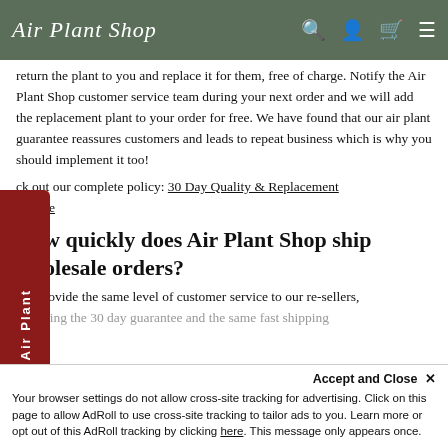Air Plant Shop
return the plant to you and replace it for them, free of charge. Notify the Air Plant Shop customer service team during your next order and we will add the replacement plant to your order for free. We have found that our air plant guarantee reassures customers and leads to repeat business which is why you should implement it too!
ck out our complete policy: 30 Day Quality & Replacement arantee
How quickly does Air Plant Shop ship wholesale orders?
We provide the same level of customer service to our re-sellers, including the 30 day guarantee and the same fast shipping...
Accept and Close ✕
Your browser settings do not allow cross-site tracking for advertising. Click on this page to allow AdRoll to use cross-site tracking to tailor ads to you. Learn more or opt out of this AdRoll tracking by clicking here. This message only appears once.